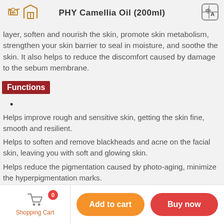PHY Camellia Oil (200ml)
layer, soften and nourish the skin, promote skin metabolism, strengthen your skin barrier to seal in moisture, and soothe the skin. It also helps to reduce the discomfort caused by damage to the sebum membrane.
Functions
Helps improve rough and sensitive skin, getting the skin fine, smooth and resilient.
Helps to soften and remove blackheads and acne on the facial skin, leaving you with soft and glowing skin.
Helps reduce the pigmentation caused by photo-aging, minimize the hyperpigmentation marks.
It has the effect of nourishing and moisturizing hair, which can promote
Shopping Cart  0  Add to cart  Buy now